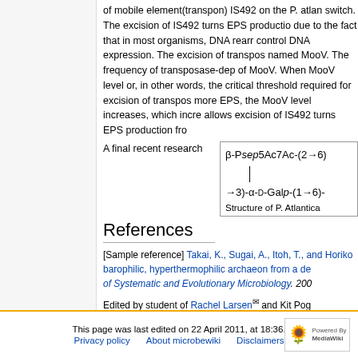of mobile element(transpon) IS492 on the P. atlan switch. The excision of IS492 turns EPS productio due to the fact that in most organisms, DNA rearr control DNA expression. The excision of transpos named MooV. The frequency of transposase-dep of MooV. When MooV level or, in other words, the critical threshold required for excision of transpos more EPS, the MooV level increases, which incre allows excision of IS492 turns EPS production fro
A final recent research
[Figure (schematic): Chemical structure of P. Atlantica EPS showing β-Psep5Ac7Ac-(2→6) linked to →3)-α-D-Galp-(1→6)- chain. Caption: Structure of P. Atlantica]
References
[Sample reference] Takai, K., Sugai, A., Itoh, T., and Horik barophilic, hyperthermophilic archaeon from a de of Systematic and Evolutionary Microbiology. 200
Edited by student of Rachel Larsen and Kit Pog
This page was last edited on 22 April 2011, at 18:36.
Privacy policy   About microbewiki   Disclaimers